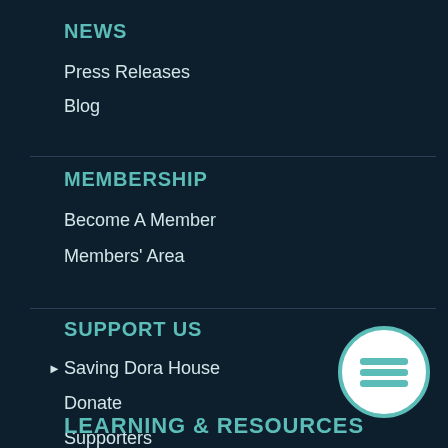NEWS
Press Releases
Blog
MEMBERSHIP
Become A Member
Members' Area
SUPPORT US
Saving Dora House
Donate
Supporters
[Figure (illustration): Teal circle icon with three horizontal lines (hamburger/menu icon)]
LEARNING & RESOURCES